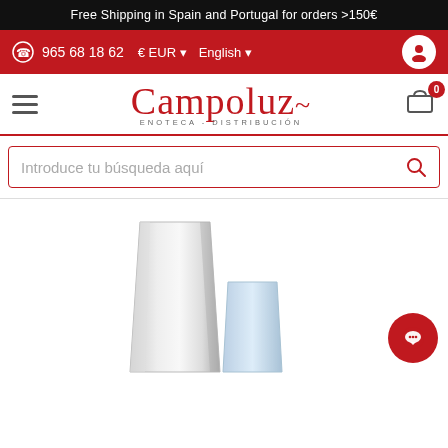Free Shipping in Spain and Portugal for orders >150€
965 68 18 62  € EUR  English
Campoluz ENOTECA - DISTRIBUCIÓN
Introduce tu búsqueda aquí
[Figure (photo): Two glass tumblers/cups shown at bottom of page, one tall metallic glass and one smaller blue-tinted glass]